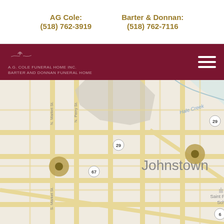AG Cole: (518) 762-3919   Barter & Donnan: (518) 762-7116
[Figure (logo): A.G. Cole Funeral Home Inc. and Barter and Donnan Funeral Home logo on dark red navigation bar with hamburger menu icon]
[Figure (map): Google Maps style street map showing Johnstown area with N. Market St., N. Perry St., S. Market St., route markers 29 and 67, Hale Creek, Saint Patricks School, Partners Park, and two gold location pin markers]